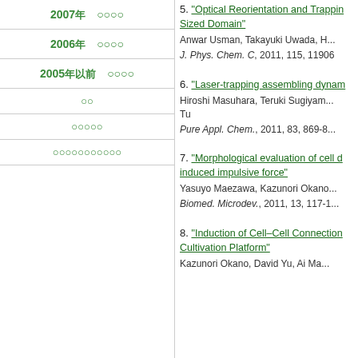2007年　○○○○
2006年　○○○○
2005年以前　○○○○
○○
○○○○○
○○○○○○○○○○○
5. "Optical Reorientation and Trapping ... Sized Domain" Anwar Usman, Takayuki Uwada, H... J. Phys. Chem. C, 2011, 115, 11906...
6. "Laser-trapping assembling dynam..." Hiroshi Masuhara, Teruki Sugiyam... Tu Pure Appl. Chem., 2011, 83, 869-8...
7. "Morphological evaluation of cell d... induced impulsive force" Yasuyo Maezawa, Kazunori Okano... Biomed. Microdev., 2011, 13, 117-1...
8. "Induction of Cell–Cell Connection... Cultivation Platform" Kazunori Okano, David Yu, Ai Ma...